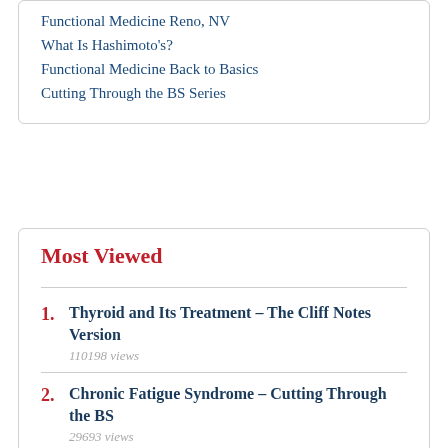Functional Medicine Reno, NV
What Is Hashimoto's?
Functional Medicine Back to Basics
Cutting Through the BS Series
Most Viewed
Thyroid and Its Treatment – The Cliff Notes Version
110198 views
Chronic Fatigue Syndrome – Cutting Through the BS
29693 views
Fibromyalgia – Cutting Through the